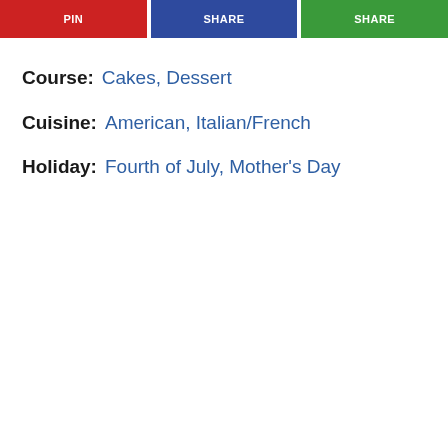[Figure (other): Three colored buttons at top: red (left), blue (center), green (right) with white text labels partially visible]
Course:  Cakes, Dessert
Cuisine:  American, Italian/French
Holiday:  Fourth of July, Mother's Day